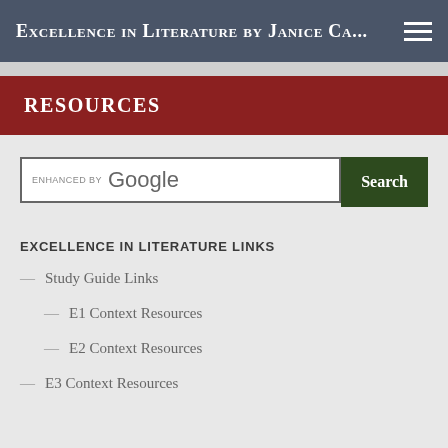Excellence in Literature by Janice Ca...
RESOURCES
enhanced by Google [Search button]
EXCELLENCE IN LITERATURE LINKS
— Study Guide Links
— E1 Context Resources
— E2 Context Resources
— E3 Context Resources